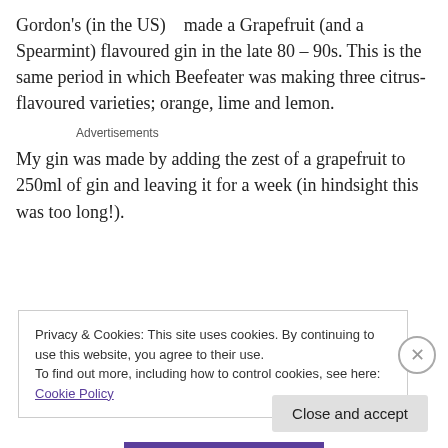Gordon's (in the US)   made a Grapefruit (and a Spearmint) flavoured gin in the late 80 – 90s. This is the same period in which Beefeater was making three citrus-flavoured varieties; orange, lime and lemon.
Advertisements
My gin was made by adding the zest of a grapefruit to 250ml of gin and leaving it for a week (in hindsight this was too long!).
Privacy & Cookies: This site uses cookies. By continuing to use this website, you agree to their use.
To find out more, including how to control cookies, see here: Cookie Policy
Close and accept